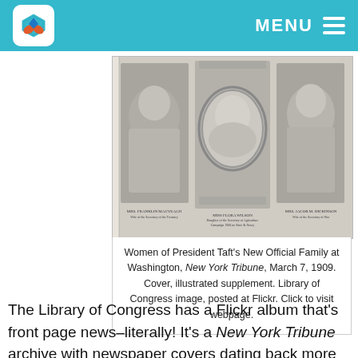MENU
[Figure (photo): Black and white newspaper illustration showing three women: Mrs. Franklin MacVeagh (Wife of the Secretary of the Treasury), Miss Flora Wilson (Daughter of the Secretary of Agriculture), and Mrs. Jacob M. Dickinson (Wife of the Secretary of War). From New York Tribune, March 7, 1909.]
Women of President Taft's New Official Family at Washington, New York Tribune, March 7, 1909. Cover, illustrated supplement. Library of Congress image, posted at Flickr. Click to visit webpage.
The Library of Congress has a Flickr album that's front page news–literally! It's a New York Tribune archive with newspaper covers dating back more than a century.